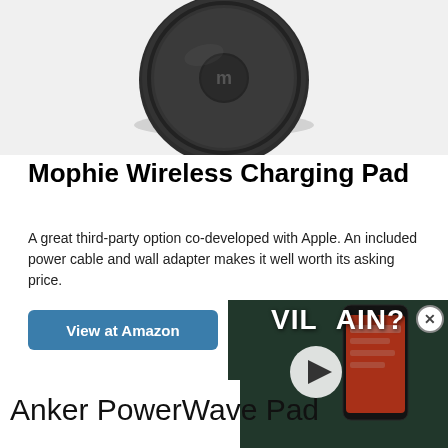[Figure (photo): Top view of a round black Mophie wireless charging pad with mophie logo on top, photographed against a light grey background.]
Mophie Wireless Charging Pad
A great third-party option co-developed with Apple. An included power cable and wall adapter makes it well worth its asking price.
View at Amazon
[Figure (screenshot): Video overlay showing a smartphone with text 'VILLAIN?' overlaid, with a play button in the center and an X close button in the top right corner.]
Anker PowerWave Pad